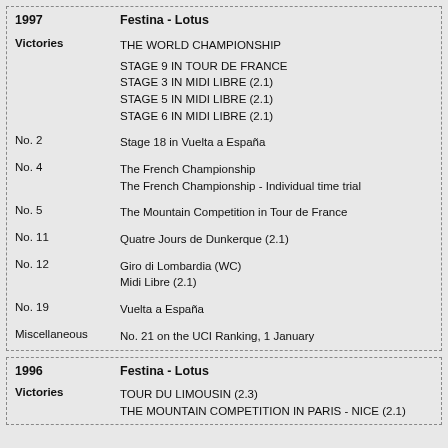| Year/Category | Details |
| --- | --- |
| 1997 | Festina - Lotus |
| Victories | THE WORLD CHAMPIONSHIP
STAGE 9 IN TOUR DE FRANCE
STAGE 3 IN MIDI LIBRE (2.1)
STAGE 5 IN MIDI LIBRE (2.1)
STAGE 6 IN MIDI LIBRE (2.1) |
| No. 2 | Stage 18 in Vuelta a España |
| No. 4 | The French Championship
The French Championship - Individual time trial |
| No. 5 | The Mountain Competition in Tour de France |
| No. 11 | Quatre Jours de Dunkerque (2.1) |
| No. 12 | Giro di Lombardia (WC)
Midi Libre (2.1) |
| No. 19 | Vuelta a España |
| Miscellaneous | No. 21 on the UCI Ranking, 1 January |
| Year/Category | Details |
| --- | --- |
| 1996 | Festina - Lotus |
| Victories | TOUR DU LIMOUSIN (2.3)
THE MOUNTAIN COMPETITION IN PARIS - NICE (2.1) |